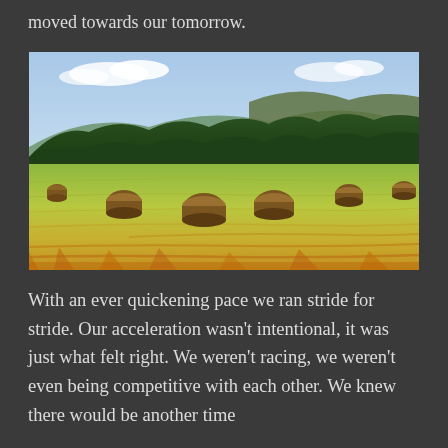moved towards our tomorrow.
[Figure (photo): Rural landscape with round hay bales scattered across a bright green and golden field. A dense green forest and low hills visible in the background under a partly cloudy sky.]
With an ever quickening pace we ran stride for stride. Our acceleration wasn't intentional, it was just what felt right. We weren't racing, we weren't even being competitive with each other. We knew there would be another time